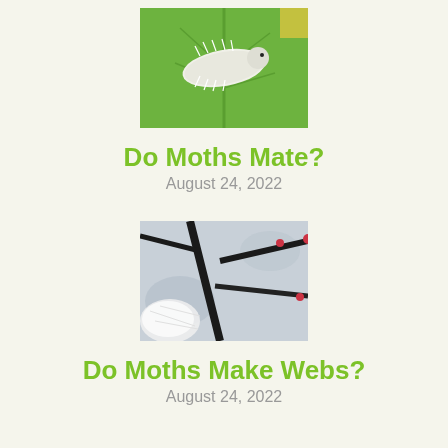[Figure (photo): Close-up photo of a white furry moth caterpillar on a bright green leaf]
Do Moths Mate?
August 24, 2022
[Figure (photo): Close-up photo of spider web or moth web on dark tree branches with blurred background]
Do Moths Make Webs?
August 24, 2022